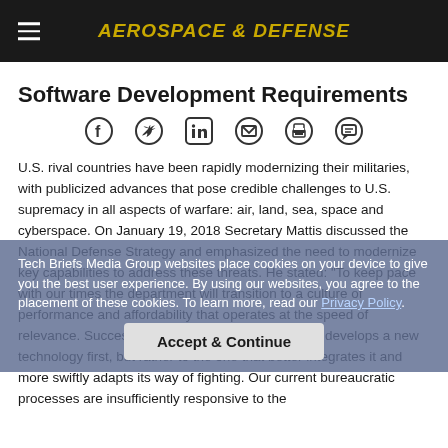AEROSPACE & DEFENSE
Software Development Requirements
[Figure (infographic): Social sharing icons row: Facebook, Twitter, LinkedIn, Email, Print, Comment]
U.S. rival countries have been rapidly modernizing their militaries, with publicized advances that pose credible challenges to U.S. supremacy in all aspects of warfare: air, land, sea, space and cyberspace. On January 19, 2018 Secretary Mattis discussed the National Defense Strategy and emphasized the need to modernize key capabilities to address these threats. He stated: “To keep pace with our times the department will transition to a culture of performance and affordability that operates at the speed of relevance. Success does not go to the country that develops a new technology first, but rather to the one that better integrates it and more swiftly adapts its way of fighting. Our current bureaucratic processes are insufficiently responsive to the